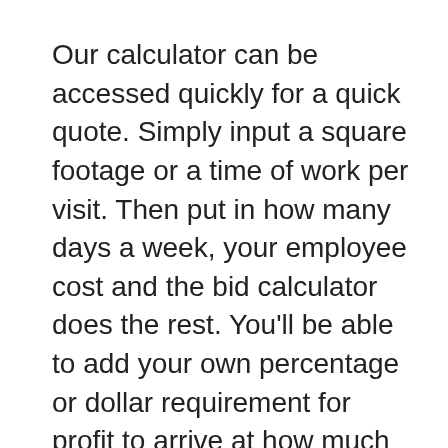Our calculator can be accessed quickly for a quick quote. Simply input a square footage or a time of work per visit. Then put in how many days a week, your employee cost and the bid calculator does the rest. You'll be able to add your own percentage or dollar requirement for profit to arrive at how much you want to charge your client. Getting and keeping your jobs profitable is the name of the game and this innovative feature is a bonus tool that can help in a practical